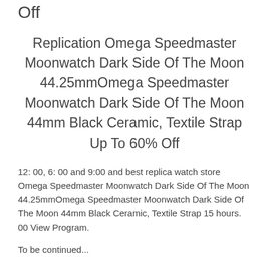Off
Replication Omega Speedmaster Moonwatch Dark Side Of The Moon 44.25mmOmega Speedmaster Moonwatch Dark Side Of The Moon 44mm Black Ceramic, Textile Strap Up To 60% Off
12: 00, 6: 00 and 9:00 and best replica watch store Omega Speedmaster Moonwatch Dark Side Of The Moon 44.25mmOmega Speedmaster Moonwatch Dark Side Of The Moon 44mm Black Ceramic, Textile Strap 15 hours. 00 View Program.
To be continued...